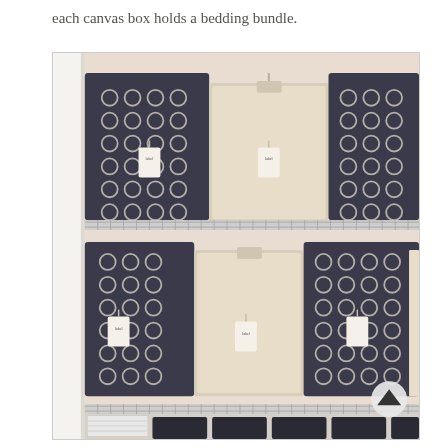each canvas box holds a bedding bundle.
[Figure (photo): A linen closet with wire shelves holding alternating dark gray patterned (quatrefoil) and cream/beige canvas storage boxes, each with a hanging tag label. Two full shelves visible with boxes, and a partial third shelf at the bottom with dark bins and folded white towels. A circular up-arrow navigation button visible in the lower right corner.]